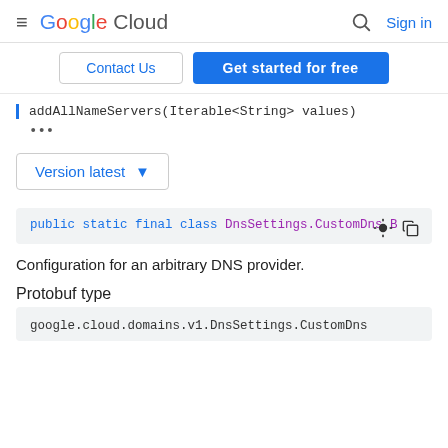Google Cloud — Sign in
Contact Us | Get started for free
addAllNameServers(Iterable<String> values)
...
Version latest ▾
public static final class DnsSettings.CustomDns.B
Configuration for an arbitrary DNS provider.
Protobuf type
google.cloud.domains.v1.DnsSettings.CustomDns